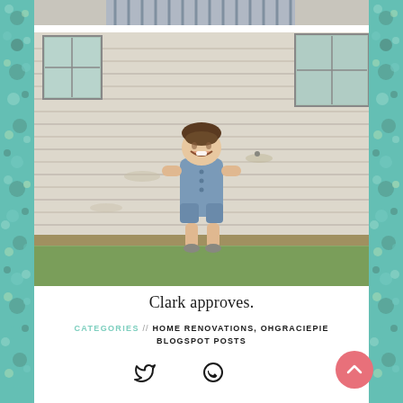[Figure (photo): Partial cropped photo at top showing what appears to be clothing/fabric with stripes]
[Figure (photo): Photo of a smiling toddler in a denim romper standing in front of a weathered white clapboard house with green trim windows]
Clark approves.
CATEGORIES // HOME RENOVATIONS, OHGRACIEPIE BLOGSPOT POSTS
[Figure (other): Social share icons: Twitter bird and WhatsApp phone icons]